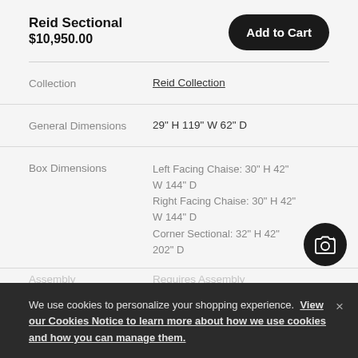Reid Sectional
$10,950.00
Add to Cart
| Attribute | Value |
| --- | --- |
| Collection | Reid Collection |
| General Dimensions | 29" H 119" W 62" D |
| Box Dimensions | Left Facing Chaise: 30" H 42" W 144" D
Right Facing Chaise: 30" H 42" W 144" D
Corner Sectional: 32" H 42" 202" D |
| Assembly | Requires Assembly |
We use cookies to personalize your shopping experience. View our Cookies Notice to learn more about how we use cookies and how you can manage them.